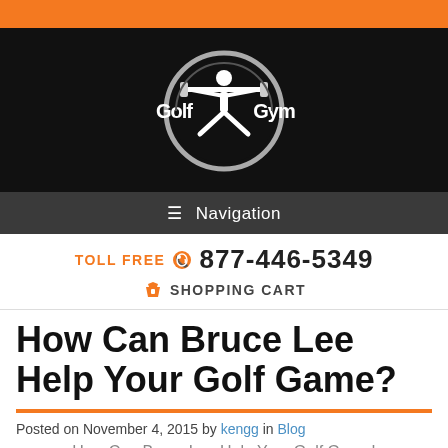[Figure (logo): Golf Gym logo on black background — circular emblem with a figure holding a barbell, flanked by 'Golf' and 'Gym' text in white stylized font]
≡ Navigation
TOLL FREE 📞 877-446-5349
🛒 SHOPPING CART
How Can Bruce Lee Help Your Golf Game?
Posted on November 4, 2015 by kengg in Blog
How Can Bruce Lee Help Your Golf Game!